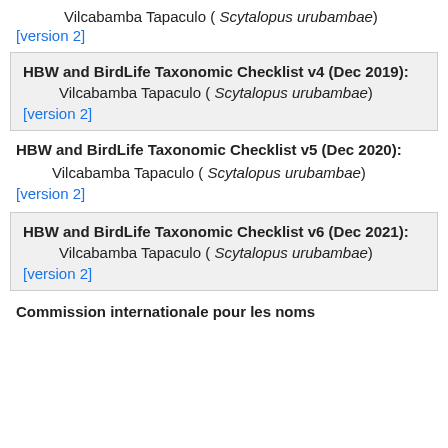Vilcabamba Tapaculo ( Scytalopus urubambae)
[version 2]
HBW and BirdLife Taxonomic Checklist v4 (Dec 2019):
Vilcabamba Tapaculo ( Scytalopus urubambae)
[version 2]
HBW and BirdLife Taxonomic Checklist v5 (Dec 2020):
Vilcabamba Tapaculo ( Scytalopus urubambae)
[version 2]
HBW and BirdLife Taxonomic Checklist v6 (Dec 2021):
Vilcabamba Tapaculo ( Scytalopus urubambae)
[version 2]
Commission internationale pour les noms